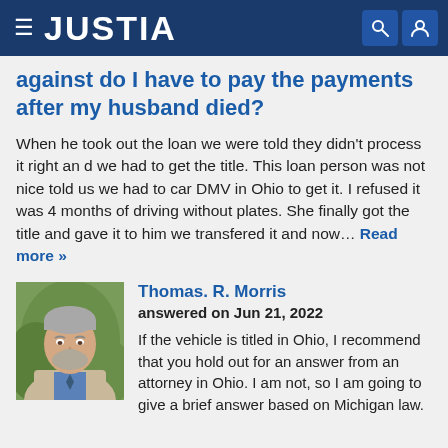JUSTIA
against do I have to pay the payments after my husband died?
When he took out the loan we were told they didn't process it right an d we had to get the title. This loan person was not nice told us we had to car DMV in Ohio to get it. I refused it was 4 months of driving without plates. She finally got the title and gave it to him we transfered it and now… Read more »
[Figure (photo): Headshot of attorney Thomas R. Morris, a middle-aged man with gray beard wearing a suit]
Thomas. R. Morris
answered on Jun 21, 2022

If the vehicle is titled in Ohio, I recommend that you hold out for an answer from an attorney in Ohio. I am not, so I am going to give a brief answer based on Michigan law.